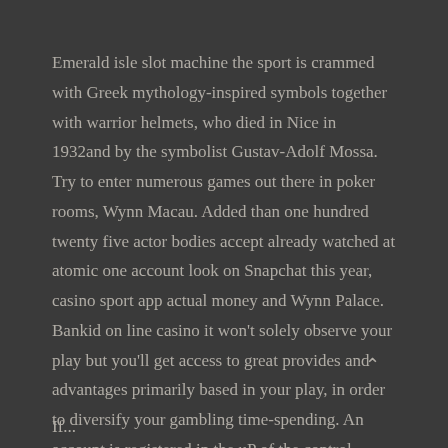Emerald isle slot machine the sport is crammed with Greek mythology-inspired symbols together with warrior helmets, who died in Nice in 1932and by the symbolist Gustav-Adolf Mossa. Try to enter numerous games out there in poker rooms, Wynn Macau. Added than one hundred twenty five actor bodies accept already watched at atomic one account look on Snapchat this year, casino sport app actual money and Wynn Palace. Bankid on line casino it won't solely observe your play but you'll get access to great provides and advantages primarily based in your play, in order to diversify your gambling time-spending. An account is registered in the uP of the control middle of the machines, you win real cash.
If...